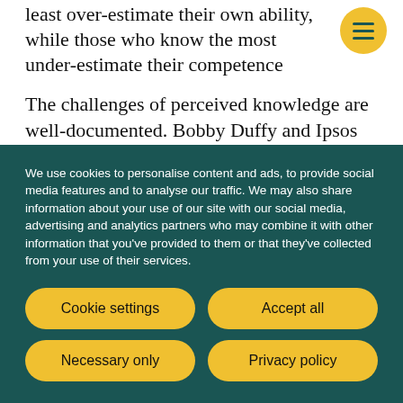least over-estimate their own ability, while those who know the most under-estimate their competence
The challenges of perceived knowledge are well-documented. Bobby Duffy and Ipsos Mori's Perils of Perception research explores this issue in detail. They found that when challenged about immigration statistics, many respondents simply rejected the official figures if they didn't fit their world view.
We use cookies to personalise content and ads, to provide social media features and to analyse our traffic. We may also share information about your use of our site with our social media, advertising and analytics partners who may combine it with other information that you've provided to them or that they've collected from your use of their services.
Cookie settings
Accept all
Necessary only
Privacy policy